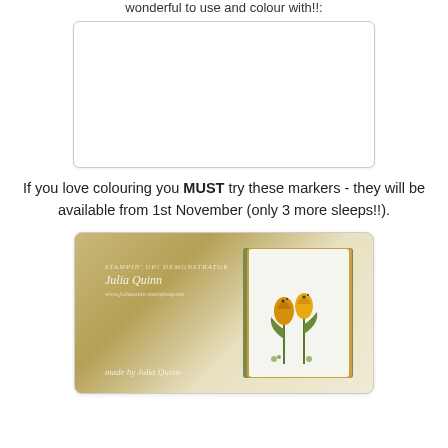wonderful to use and colour with!!
[Figure (photo): White rectangular image placeholder with rounded corners and light border]
If you love colouring you MUST try these markers - they will be available from 1st November (only 3 more sleeps!!).
[Figure (photo): Photo of greeting cards stacked together showing a card with yellow tulips illustrated on a white background, with green and tan card layers visible behind it. Watermark text reads Julia Quinn.]